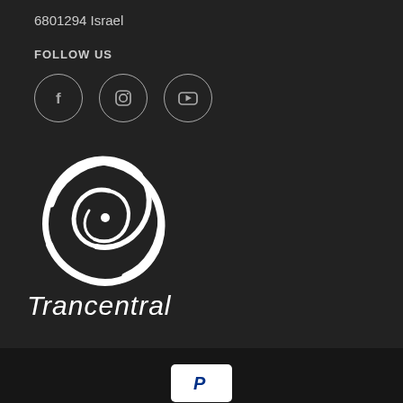6801294 Israel
FOLLOW US
[Figure (illustration): Three social media icon circles: Facebook (f), Instagram (camera), YouTube (play button)]
[Figure (logo): Trancentral logo: white spiral/vortex graphic above italic white text reading 'Trancentral']
[Figure (logo): PayPal payment button - white rectangle with PayPal P logo in blue]
© 2022, Trancentral Shop